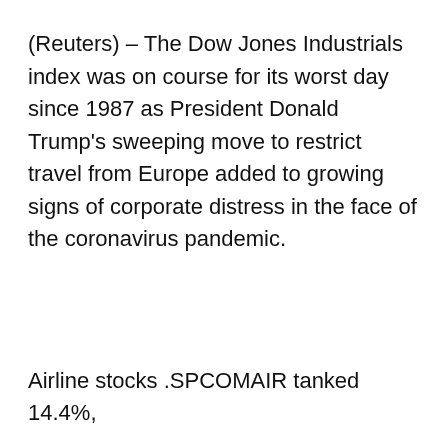(Reuters) – The Dow Jones Industrials index was on course for its worst day since 1987 as President Donald Trump's sweeping move to restrict travel from Europe added to growing signs of corporate distress in the face of the coronavirus pandemic.
Airline stocks .SPCOMAIR tanked 14.4%,